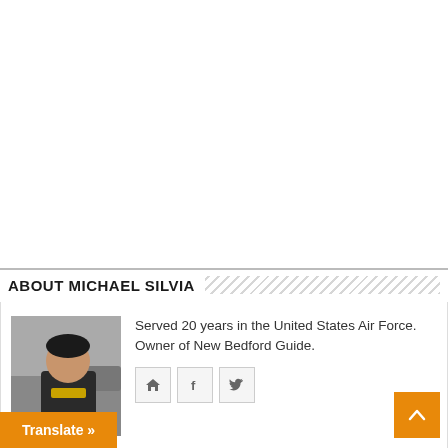ABOUT MICHAEL SILVIA
[Figure (photo): Headshot photo of Michael Silvia, a man facing the camera outdoors, with a car visible in the background.]
Served 20 years in the United States Air Force. Owner of New Bedford Guide.
[Figure (other): Social media icons: home, Facebook (f), and Twitter (bird)]